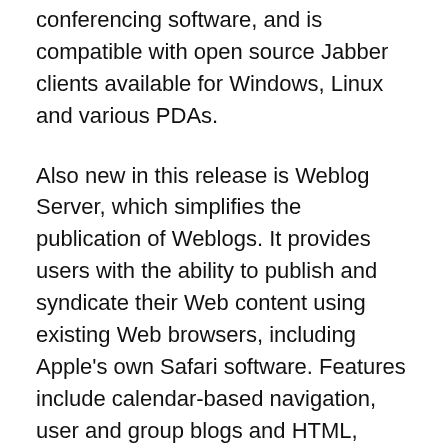SSL/TLS encryption, works with Apple's iChat conferencing software, and is compatible with open source Jabber clients available for Windows, Linux and various PDAs.
Also new in this release is Weblog Server, which simplifies the publication of Weblogs. It provides users with the ability to publish and syndicate their Web content using existing Web browsers, including Apple's own Safari software. Features include calendar-based navigation, user and group blogs and HTML, RSS, RSS2, RDF and ATOM protocols, as well as “Apple-designed blog themes.” Weblog Server can also integrate with Open Directory, LDAP and access control lists for authentication.
Mac OS X Server v10.4 also touts Xgrid, a